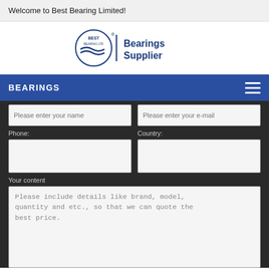Welcome to Best Bearing Limited!
[Figure (logo): Best Bearing Ltd circular logo with wave design and 'Bearings Supplier' text]
BEARINGS
Please enter your name
Please enter your e-mail
Phone:
Country:
Your content
Please include details like brand, model, quantity and etc., so that we can quote the best price.
Submit